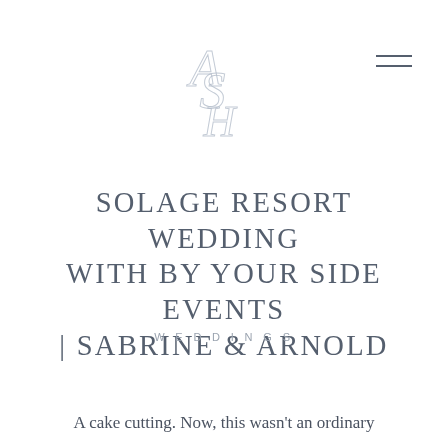[Figure (logo): ASH monogram logo in light blue-grey, letters A, S, H overlapping in an elegant serif style]
SOLAGE RESORT WEDDING WITH BY YOUR SIDE EVENTS | SABRINE & ARNOLD
WEDDINGS
A cake cutting. Now, this wasn’t an ordinary